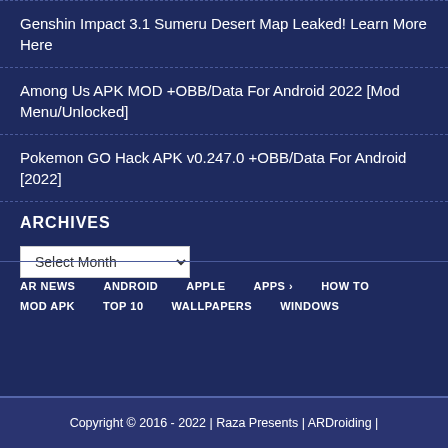Genshin Impact 3.1 Sumeru Desert Map Leaked! Learn More Here
Among Us APK MOD +OBB/Data For Android 2022 [Mod Menu/Unlocked]
Pokemon GO Hack APK v0.247.0 +OBB/Data For Android [2022]
ARCHIVES
Select Month
AR NEWS  ANDROID  APPLE  APPS  HOW TO  MOD APK  TOP 10  WALLPAPERS  WINDOWS
Copyright © 2016 - 2022 | Raza Presents | ARDroiding |